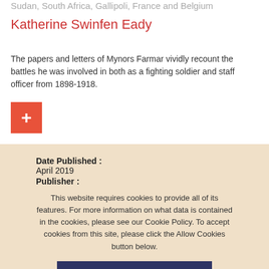Sudan, South Africa, Gallipoli, France and Belgium
Katherine Swinfen Eady
The papers and letters of Mynors Farmar vividly recount the battles he was involved in both as a fighting soldier and staff officer from 1898-1918.
[Figure (other): Red plus/add button icon]
Date Published :
April 2019
Publisher :
Helion and Company
Language:
This website requires cookies to provide all of its features. For more information on what data is contained in the cookies, please see our Cookie Policy. To accept cookies from this site, please click the Allow Cookies button below.
Allow Cookies